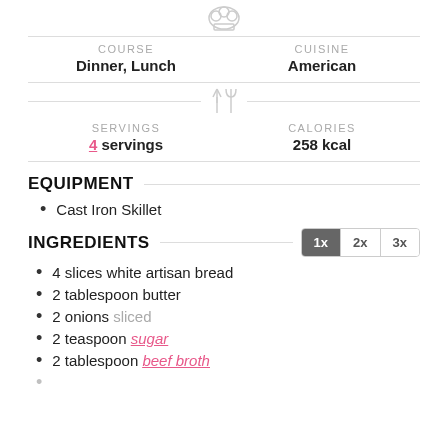COURSE: Dinner, Lunch | CUISINE: American
SERVINGS: 4 servings | CALORIES: 258 kcal
EQUIPMENT
Cast Iron Skillet
INGREDIENTS
4 slices white artisan bread
2 tablespoon butter
2 onions sliced
2 teaspoon sugar
2 tablespoon beef broth